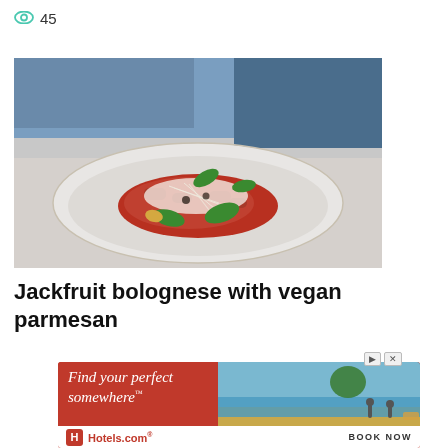45
[Figure (photo): A white bowl with jackfruit bolognese pasta topped with shredded vegan parmesan and fresh basil leaves, on a light gray table with a blue chair in the background.]
Jackfruit bolognese with vegan parmesan
[Figure (other): Advertisement banner for Hotels.com with text 'Find your perfect somewhere' overlaid on a beach scene photo, with Hotels.com logo and BOOK NOW button at the bottom.]